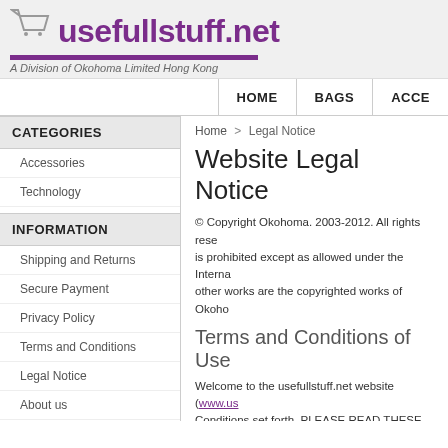[Figure (logo): Shopping cart icon with usefullstuff.net text logo, purple bar, and subtitle 'A Division of Okohoma Limited Hong Kong']
HOME | BAGS | ACCE
Home > Legal Notice
CATEGORIES
Accessories
Technology
INFORMATION
Shipping and Returns
Secure Payment
Privacy Policy
Terms and Conditions
Legal Notice
About us
Our stores
Website Legal Notice
© Copyright Okohoma. 2003-2012. All rights rese... is prohibited except as allowed under the Interna... other works are the copyrighted works of Okoho...
Terms and Conditions of Use
Welcome to the usefullstuff.net website (www.us... Conditions set forth. PLEASE READ THESE TE... WEBSITE. The information and materials provide... using, accessing or downloading materials from t... outlined in this legal notice, which apply to all vis... Okohoma may at anytime revise and update the... this page to review the most current Terms and C... Terms and Condition of Use, please do not use t...
Restrictions
You may view, download and copy information a... non-commercial use. You may also use such...